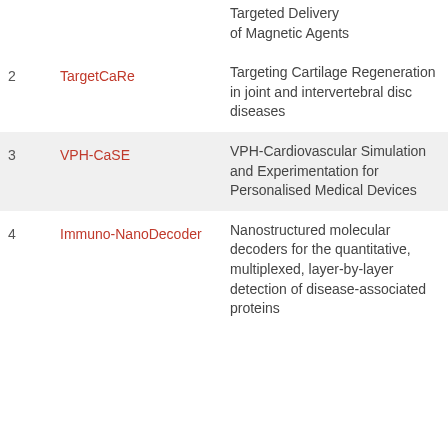| # | Project | Full Name |
| --- | --- | --- |
|  |  | Targeted Delivery of Magnetic Agents |
| 2 | TargetCaRe | Targeting Cartilage Regeneration in joint and intervertebral disc diseases |
| 3 | VPH-CaSE | VPH-Cardiovascular Simulation and Experimentation for Personalised Medical Devices |
| 4 | Immuno-NanoDecoder | Nanostructured molecular decoders for the quantitative, multiplexed, layer-by-layer detection of disease-associated proteins |